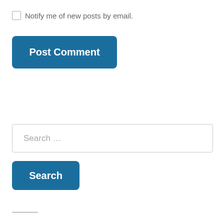Notify me of new posts by email.
Post Comment
Search …
Search